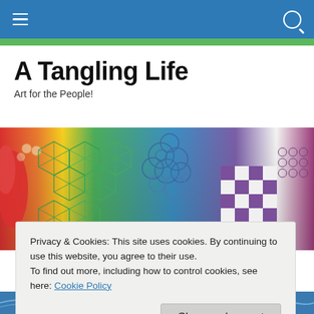Navigation bar with hamburger menu and search icon
A Tangling Life
Art for the People!
[Figure (illustration): Colorful mixed-media artwork featuring intricate tangled patterns including geometric star shapes in green, circular spiral clusters in blue-purple, checkered diamond shapes in purple and white, and red circular dotted patterns against a red/yellow background.]
Privacy & Cookies: This site uses cookies. By continuing to use this website, you agree to their use.
To find out more, including how to control cookies, see here: Cookie Policy
[Figure (illustration): Bottom strip showing partial view of another artwork with blue tones.]